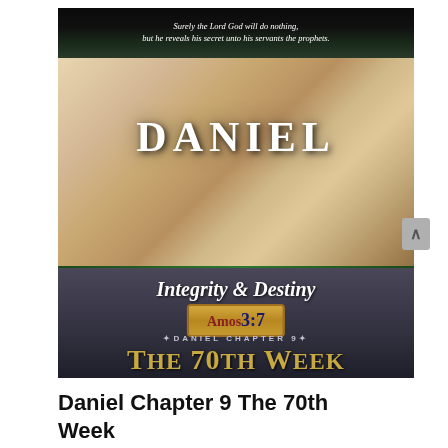[Figure (illustration): Book cover for 'Daniel – Integrity & Destiny' series, featuring ancient scroll imagery, the title DANIEL in large white letters, subtitle 'Integrity & Destiny', Amos 3:7 reference in a gold banner, and 'Daniel Chapter 9 – The 70th Week' at the bottom on a dark background. A quote at the top reads: 'Surely the Lord God will do nothing, but he reveals his secret unto his servants the prophets.']
Daniel Chapter 9 The 70th Week